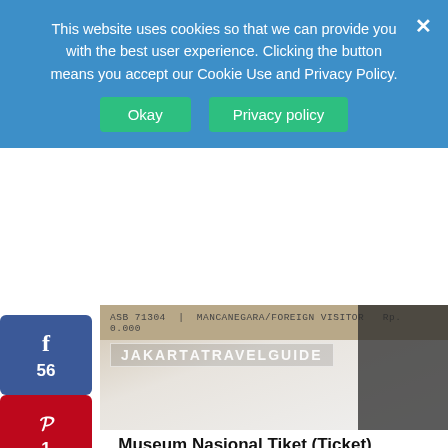This website uses cookies so that we can provide you with the best user experience. Clicking the button means you accept our Cookie Use and Privacy Policy.
Okay
Privacy policy
[Figure (photo): A Jakarta museum ticket with text ASB 71309 and Jakarta Travel Guide watermark overlay]
Museum Nasional Tiket (Ticket)
Foreign visitors are charged more at many museums throughout Jakarta.
***Read this Jakarta Museum Guide for additional information about museums throughout the city.